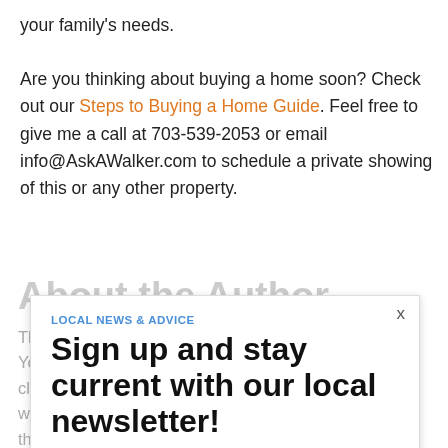your family's needs.

Are you thinking about buying a home soon? Check out our Steps to Buying a Home Guide. Feel free to give me a call at 703-539-2053 or email info@AskAWalker.com to schedule a private showing of this or any other property.
About the Author
The site/article/post was written by Adam Walker, Your Northern Virginia Real Estate Agent helping clients market their homes to achieve high sales with supporting buying as my main priority. He's the co-founder of Ask A Walker and can be found on YouTube, Facebook and us as on this blog.
LOCAL NEWS & ADVICE
Sign up and stay current with our local newsletter!
Subscribe Using Facebook